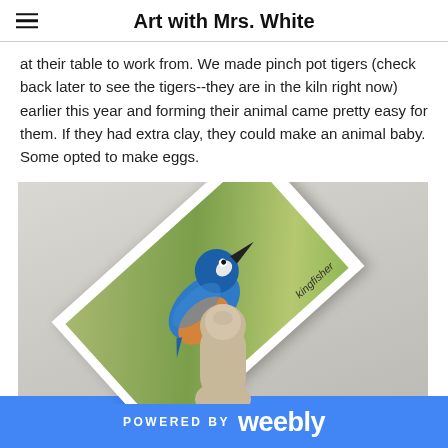Art with Mrs. White
at their table to work from. We made pinch pot tigers (check back later to see the tigers--they are in the kiln right now) earlier this year and forming their animal came pretty easy for them. If they had extra clay, they could make an animal baby. Some opted to make eggs.
[Figure (photo): A photo of a kingfisher reference card (a printed card with a kingfisher bird image on a green background, rotated diagonally on a light gray table surface) with a clay-covered finger or clay form visible at the bottom of the frame.]
POWERED BY weebly